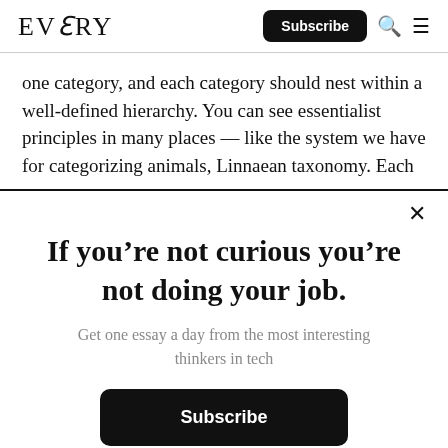EVERY | Subscribe
one category, and each category should nest within a well-defined hierarchy. You can see essentialist principles in many places — like the system we have for categorizing animals, Linnaean taxonomy. Each
If you’re not curious you’re not doing your job.
Get one essay a day from the most interesting thinkers in tech
Subscribe
Already a subscriber? Login